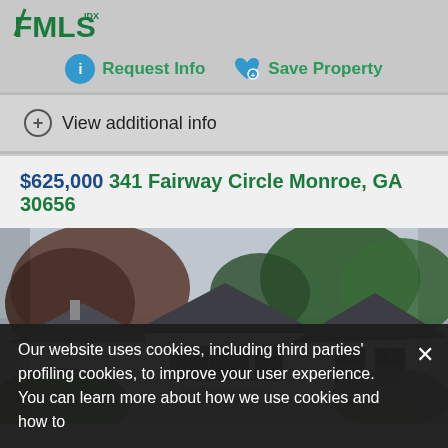[Figure (logo): FMLS IDX logo in green]
Request Info   Save Property
View additional info
$625,000  341 Fairway Circle Monroe, GA 30656
[Figure (photo): Exterior photo of a white house with dark roof, surrounded by trees]
Our website uses cookies, including third parties' profiling cookies, to improve your user experience. You can learn more about how we use cookies and how to